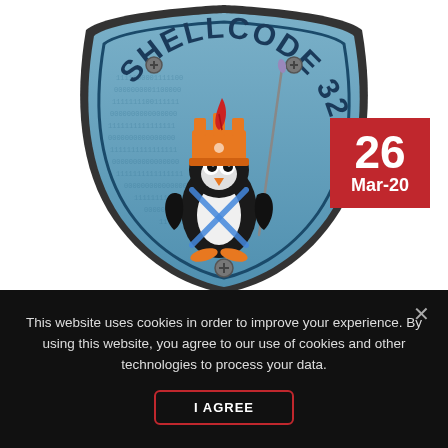[Figure (logo): Shellcode 32 shield logo featuring a cartoon penguin wearing an orange crown with a red feather, holding a wand/stick, standing in front of a binary code background. The shield is light blue with a dark border, and has 'SHELLCODE 32' text arched at the top.]
26
Mar-20
This website uses cookies in order to improve your experience. By using this website, you agree to our use of cookies and other technologies to process your data.
I AGREE